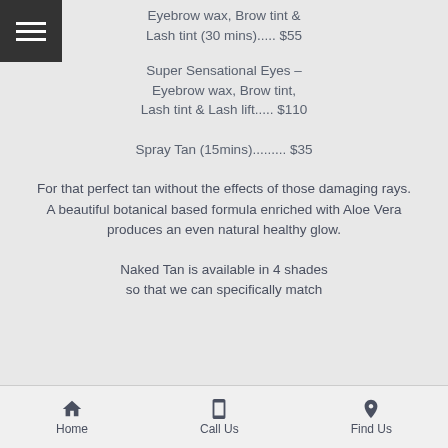Eyebrow wax, Brow tint & Lash tint (30 mins)..... $55
Super Sensational Eyes – Eyebrow wax, Brow tint, Lash tint & Lash lift..... $110
Spray Tan (15mins)......... $35
For that perfect tan without the effects of those damaging rays.
A beautiful botanical based formula enriched with Aloe Vera produces an even natural healthy glow.
Naked Tan is available in 4 shades so that we can specifically match
Home  |  Call Us  |  Find Us